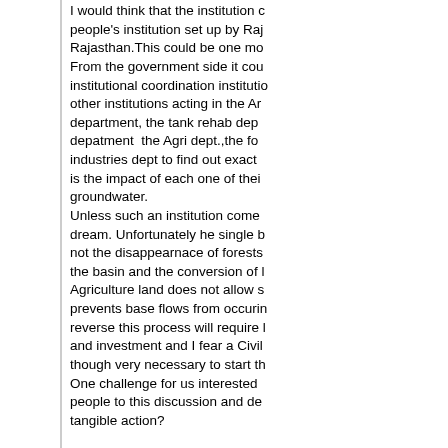I would think that the institution could be a people's institution set up by Rajasthan.This could be one mo... From the government side it could be a institutional coordination institution... other institutions acting in the Ara... department, the tank rehab depa... depatment the Agri dept.,the fo... industries dept to find out exactly... is the impact of each one of their... groundwater. Unless such an institution comes... dream. Unfortunately he single b... not the disappearnace of forests... the basin and the conversion of l... Agriculture land does not allow s... prevents base flows from occurin... reverse this process will require l... and investment and I fear a Civil... though very necessary to start th... One challenge for us interested a... people to this discussion and de... tangible action? One can flesh out the plans as a... coordinate the impact of water de...